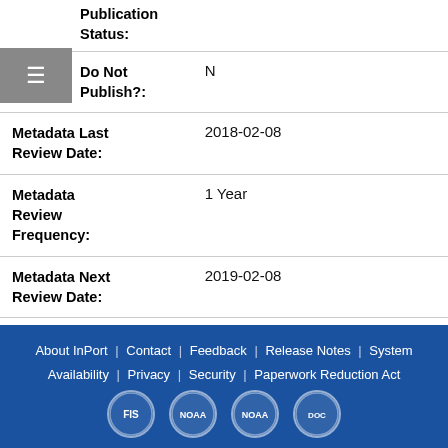| Field | Value |
| --- | --- |
| Publication Status: |  |
| Do Not Publish?: | N |
| Metadata Last Review Date: | 2018-02-08 |
| Metadata Review Frequency: | 1 Year |
| Metadata Next Review Date: | 2019-02-08 |
About InPort | Contact | Feedback | Release Notes | System Availability | Privacy | Security | Paperwork Reduction Act